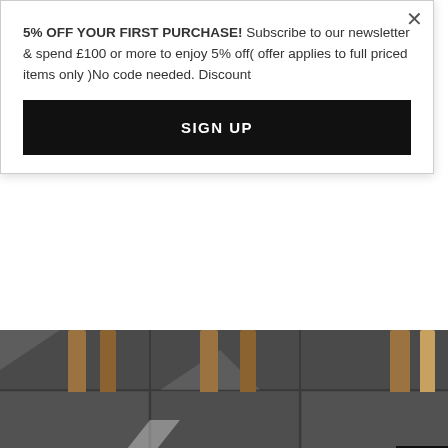5% OFF YOUR FIRST PURCHASE! Subscribe to our newsletter & spend £100 or more to enjoy 5% off( offer applies to full priced items only )No code needed. Discount
SIGN UP
[Figure (photo): Outdoor dining table on dark stone patio, wooden legs visible, close-up floor-level view]
TALENTI ARGO SQUARE OUTDOOR DINING TABLE | ACCOYA WOOD |...
£5,437.00